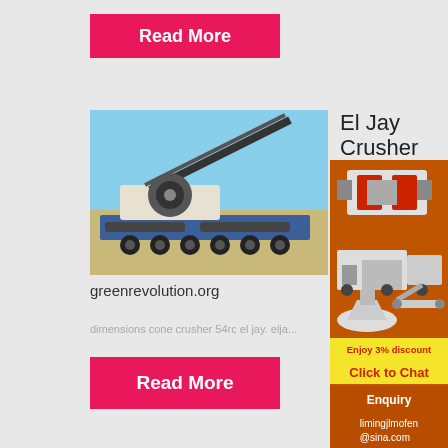Read More
[Figure (photo): Large mobile cone crusher on a flatbed truck/trailer, outdoors.]
greenrevolution.org
El Jay Crusher
[Figure (photo): Sidebar advertisement with orange background showing mining/crushing machinery images.]
Enjoy 3% discount
Click to Chat
Enquiry
limingjlmofen @sina.com
dimensions cone crusher 54rc el jay. elja...
Read More